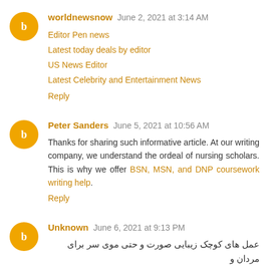worldnewsnow June 2, 2021 at 3:14 AM
Editor Pen news
Latest today deals by editor
US News Editor
Latest Celebrity and Entertainment News
Reply
Peter Sanders June 5, 2021 at 10:56 AM
Thanks for sharing such informative article. At our writing company, we understand the ordeal of nursing scholars. This is why we offer BSN, MSN, and DNP coursework writing help.
Reply
Unknown June 6, 2021 at 9:13 PM
عمل های کوچک زیبایی صورت و حتی موی سر برای مردان و